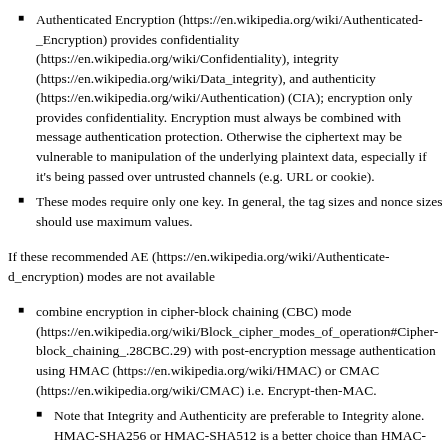Authenticated Encryption (https://en.wikipedia.org/wiki/Authenticated_Encryption) provides confidentiality (https://en.wikipedia.org/wiki/Confidentiality), integrity (https://en.wikipedia.org/wiki/Data_integrity), and authenticity (https://en.wikipedia.org/wiki/Authentication) (CIA); encryption only provides confidentiality. Encryption must always be combined with message authentication protection. Otherwise the ciphertext may be vulnerable to manipulation of the underlying plaintext data, especially if it's being passed over untrusted channels (e.g. URL or cookie).
These modes require only one key. In general, the tag sizes and nonce sizes should use maximum values.
If these recommended AE (https://en.wikipedia.org/wiki/Authenticated_encryption) modes are not available
combine encryption in cipher-block chaining (CBC) mode (https://en.wikipedia.org/wiki/Block_cipher_modes_of_operation#Cipher-block_chaining_.28CBC.29) with post-encryption message authentication using HMAC (https://en.wikipedia.org/wiki/HMAC) or CMAC (https://en.wikipedia.org/wiki/CMAC) i.e. Encrypt-then-MAC.
Note that Integrity and Authenticity are preferable to Integrity alone. HMAC-SHA256 or HMAC-SHA512 is a better choice than HMAC-SHA1.
Use 2 independent keys for these 2 independent operations.
Do not use ECB mode. CDC is preferred.
Do not use CBC MAC for variable length data (https://en.wikipedia.org/wiki/CBC-MAC#Using_the_same_key_for_encryption_and_authentication).